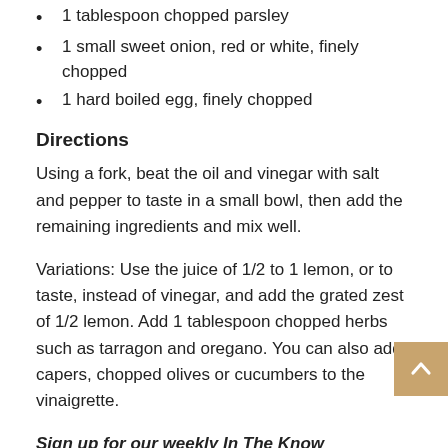1 tablespoon chopped parsley
1 small sweet onion, red or white, finely chopped
1 hard boiled egg, finely chopped
Directions
Using a fork, beat the oil and vinegar with salt and pepper to taste in a small bowl, then add the remaining ingredients and mix well.
Variations: Use the juice of 1/2 to 1 lemon, or to taste, instead of vinegar, and add the grated zest of 1/2 lemon. Add 1 tablespoon chopped herbs such as tarragon and oregano. You can also add capers, chopped olives or cucumbers to the vinaigrette.
Sign up for our weekly In The Know newsletter to receive